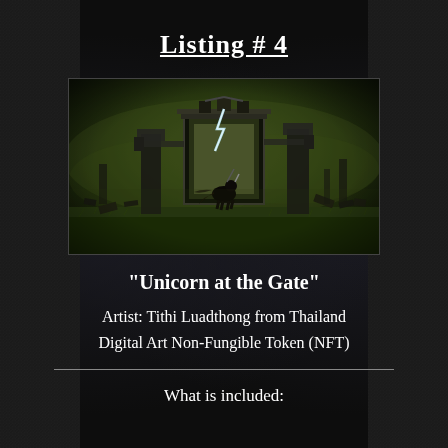Listing # 4
[Figure (illustration): Digital fantasy artwork showing a dark figure standing before a glowing portal/gate structure with machinery, set in a foggy green-lit field with scattered debris. By Tithi Luadthong.]
"Unicorn at the Gate"
Artist: Tithi Luadthong from Thailand
Digital Art Non-Fungible Token (NFT)
What is included: